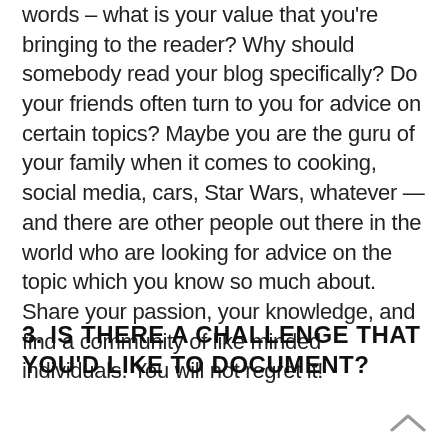words – what is your value that you're bringing to the reader? Why should somebody read your blog specifically? Do your friends often turn to you for advice on certain topics? Maybe you are the guru of your family when it comes to cooking, social media, cars, Star Wars, whatever — and there are other people out there in the world who are looking for advice on the topic which you know so much about. Share your passion, your knowledge, and find a community of like minded individuals. You will not regret it!
3. IS THERE A CHALLENGE THAT YOU'D LIKE TO DOCUMENT?